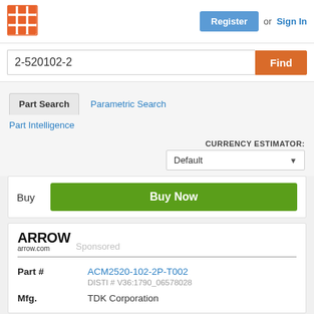Register or Sign In
2-520102-2
Part Search | Parametric Search | Part Intelligence
CURRENCY ESTIMATOR: Default
Buy | Buy Now
arrow.com  Sponsored
| Field | Value |
| --- | --- |
| Part # | ACM2520-102-2P-T002 |
| DISTI # | V36:1790_06578028 |
| Mfg. | TDK Corporation |